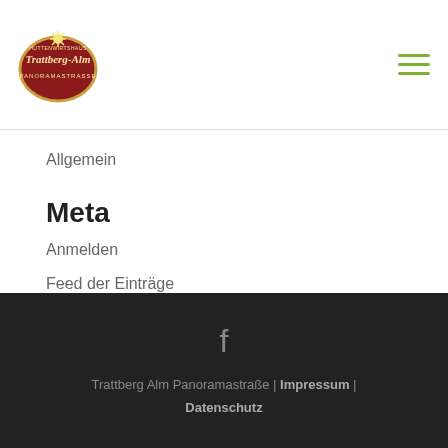Trattberg-Alm logo and navigation menu
Allgemein
Meta
Anmelden
Feed der Einträge
Kommentare-Feed
WordPress.org
Trattberg Alm Panoramastraße | Impressum | Datenschutz